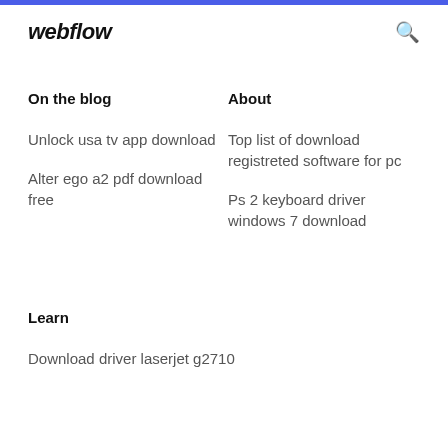webflow
On the blog
About
Unlock usa tv app download
Top list of download registreted software for pc
Alter ego a2 pdf download free
Ps 2 keyboard driver windows 7 download
Learn
Download driver laserjet g2710